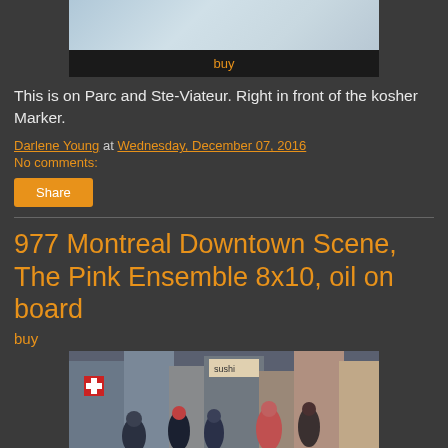[Figure (photo): Top portion of an artwork image (painting), partially visible at top of page]
buy
This is on Parc and Ste-Viateur. Right in front of the kosher Marker.
Darlene Young at Wednesday, December 07, 2016
No comments:
Share
977 Montreal Downtown Scene, The Pink Ensemble 8x10, oil on board
buy
[Figure (photo): Painting of a Montreal downtown street scene with pedestrians wearing winter clothing, storefronts including a sushi restaurant sign visible in the background]